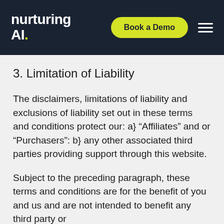nurturing AI. | Book a Demo
3. Limitation of Liability
The disclaimers, limitations of liability and exclusions of liability set out in these terms and conditions protect our: a} “Affiliates” and or “Purchasers”: b} any other associated third parties providing support through this website.
Subject to the preceding paragraph, these terms and conditions are for the benefit of you and us and are not intended to benefit any third party or